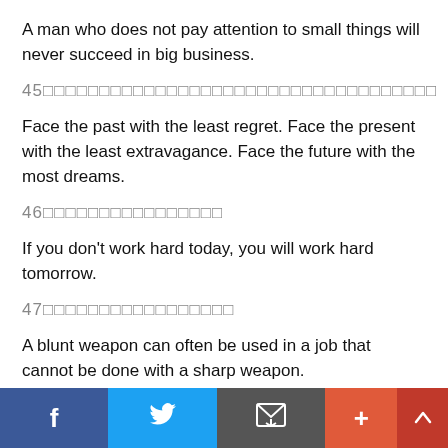A man who does not pay attention to small things will never succeed in big business.
45□□□□□□□□□□□□□□□□□□□□□□□□□□□□□□□□□□□
Face the past with the least regret. Face the present with the least extravagance. Face the future with the most dreams.
46□□□□□□□□□□□□□□□□
If you don't work hard today, you will work hard tomorrow.
47□□□□□□□□□□□□□□□□□
A blunt weapon can often be used in a job that cannot be done with a sharp weapon.
Social share bar: Facebook, Twitter, Email, More, Up